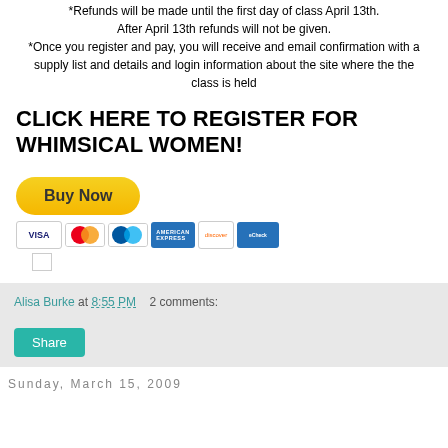*Refunds will be made until the first day of class April 13th. After April 13th refunds will not be given.
*Once you register and pay, you will receive and email confirmation with a supply list and details and login information about the site where the the class is held
CLICK HERE TO REGISTER FOR WHIMSICAL WOMEN!
[Figure (screenshot): PayPal Buy Now button with credit card icons (Visa, Mastercard, Maestro, Amex, Discover, eCheck)]
Alisa Burke at 8:55 PM    2 comments:
Share
Sunday, March 15, 2009